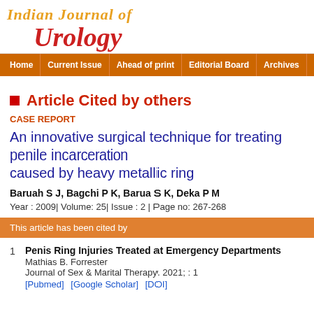Indian Journal of Urology
Article Cited by others
CASE REPORT
An innovative surgical technique for treating penile incarceration caused by heavy metallic ring
Baruah S J, Bagchi P K, Barua S K, Deka P M
Year : 2009| Volume: 25| Issue : 2 | Page no: 267-268
This article has been cited by
1  Penis Ring Injuries Treated at Emergency Departments
Mathias B. Forrester
Journal of Sex & Marital Therapy. 2021; : 1
[Pubmed]  [Google Scholar] [DOI]